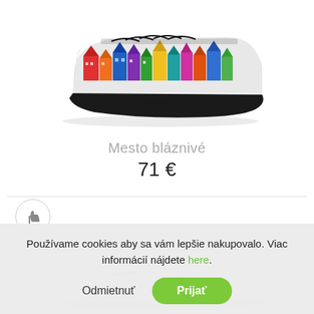[Figure (photo): A colorful sneaker shoe with a cityscape/houses print on the upper in red, blue, yellow, purple, and other bright colors, with black laces and black sole, shown in side view on white background.]
Mesto bláznivé
71 €
[Figure (photo): Partial view of white sneakers/shoes, partially cut off at bottom of page.]
Používame cookies aby sa vám lepšie nakupovalo. Viac informácií nájdete here.
Odmietnuť
Prijať